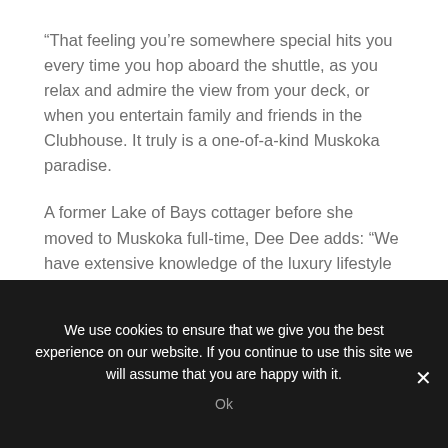“That feeling you’re somewhere special hits you every time you hop aboard the shuttle, as you relax and admire the view from your deck, or when you entertain family and friends in the Clubhouse. It truly is a one-of-a-kind Muskoka paradise.
A former Lake of Bays cottager before she moved to Muskoka full-time, Dee Dee adds: “We have extensive knowledge of the luxury lifestyle that Bigwin provides, and love introducing people to the island.”
We use cookies to ensure that we give you the best experience on our website. If you continue to use this site we will assume that you are happy with it.
Ok